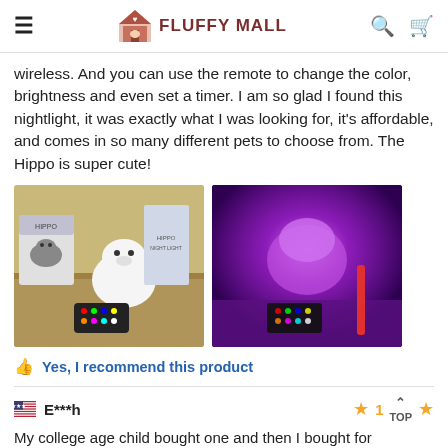≡  FLUFFY MALL  🔍  🛒
wireless. And you can use the remote to change the color, brightness and even set a timer. I am so glad I found this nightlight, it was exactly what I was looking for, it's affordable, and comes in so many different pets to choose from. The Hippo is super cute!
[Figure (photo): Two photos side by side: left shows a white hippo nightlight figure on a granite counter with its box and remote control; right shows the hippo nightlight glowing purple with remote control visible.]
👍 Yes, I recommend this product
🇺🇸 E***h   ★1   TOP   ★
My college age child bought one and then I bought for grandchildren to use in crib at my house. He LOVES it! He taps it on and then taps to